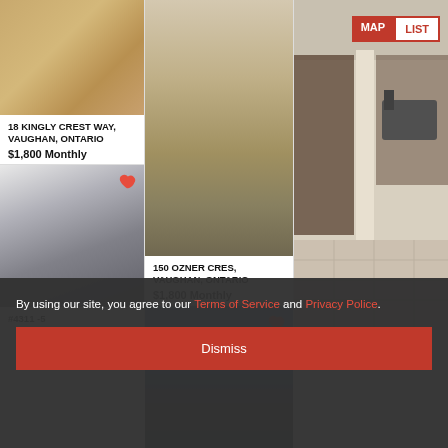[Figure (photo): Hardwood floor interior photo - top left listing]
18 KINGLY CREST WAY, VAUGHAN, ONTARIO
$1,800 Monthly
[Figure (photo): Modern kitchen interior with grey cabinets - bottom left listing]
#4311 -5
[Figure (photo): Brick driveway exterior house photo - top middle listing]
150 OZNER CRES, VAUGHAN, ONTARIO
$1,800 Monthly
[Figure (photo): High rise condo tower exterior - bottom middle listing]
[Figure (photo): Gym/fitness center interior - right column full height]
MAP | LIST
By using our site, you agree to our Terms of Service and Privacy Police.
Dismiss